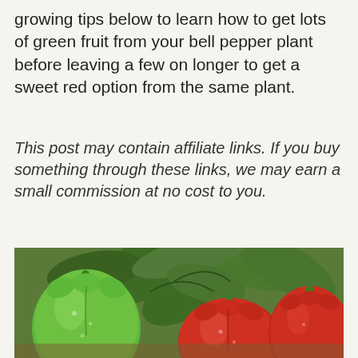growing tips below to learn how to get lots of green fruit from your bell pepper plant before leaving a few on longer to get a sweet red option from the same plant.
This post may contain affiliate links. If you buy something through these links, we may earn a small commission at no cost to you.
[Figure (photo): Photo of green and red bell peppers growing on a plant, with large green leaves in the background.]